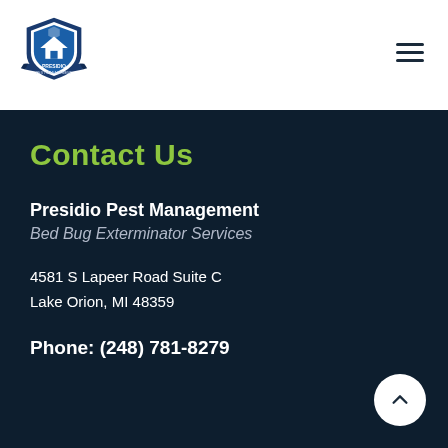[Figure (logo): Presidio Pest Management shield logo with banner and text]
Contact Us
Presidio Pest Management
Bed Bug Exterminator Services
4581 S Lapeer Road Suite C
Lake Orion, MI 48359
Phone: (248) 781-8279